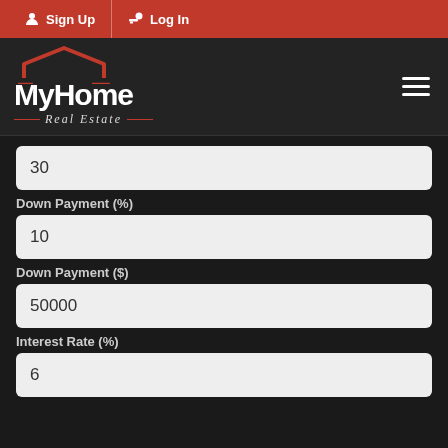Sign Up  Log In
[Figure (logo): MyHome Real Estate logo with house icon and hamburger menu]
30
Down Payment (%)
10
Down Payment ($)
50000
Interest Rate (%)
6